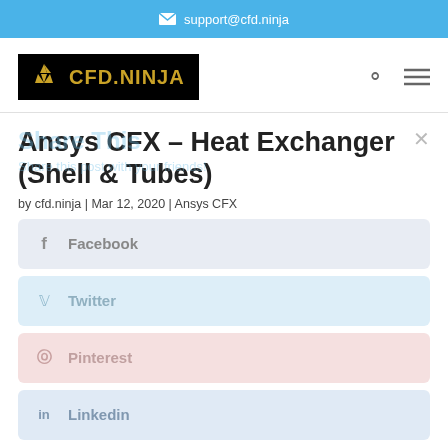support@cfd.ninja
[Figure (logo): CFD.NINJA logo — black background with gold Mitsubishi-style triple-blade symbol and gold text CFD.NINJA]
Ansys CFX – Heat Exchanger (Shell & Tubes)
by cfd.ninja | Mar 12, 2020 | Ansys CFX
Share This
Share this post with your friends!
Facebook
Twitter
Pinterest
Linkedin